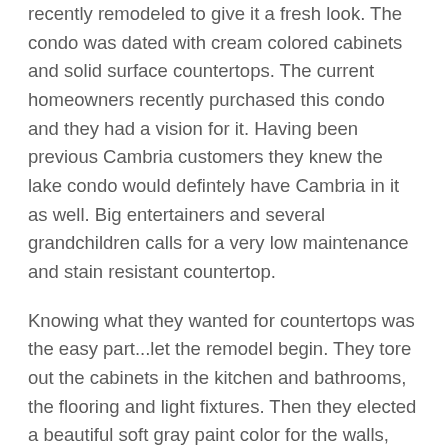recently remodeled to give it a fresh look.  The condo was dated with cream colored cabinets and solid surface countertops.  The current homeowners recently purchased this condo and they had a vision for it.  Having been previous Cambria customers they knew the lake condo would defintely have Cambria in it as well.  Big entertainers and several grandchildren calls for a very low maintenance and stain resistant countertop.
Knowing what they wanted for countertops was the easy part...let the remodel begin.  They tore out the cabinets in the kitchen and bathrooms, the flooring and light fixtures.  Then they elected a beautiful soft gray paint color for the walls, installed new cabinetry and some gorgeous light fixtures.  All that remained was the countertops.  After looking at several designs they selected two beautiful designs: Cambria Whitby for the kitchen and Cambria Malvern for the bath vanity countertops.